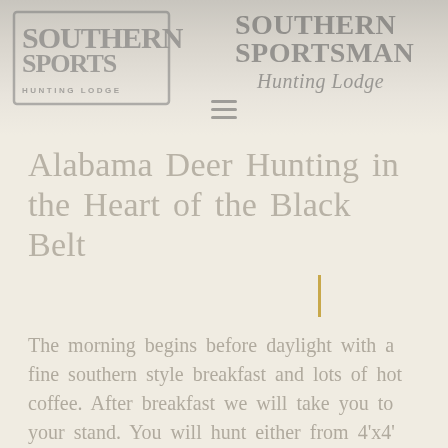[Figure (logo): Southern Sportsman Hunting Lodge logo — left side, faded/watermarked, with decorative border]
[Figure (logo): Southern Sportsman Hunting Lodge script logo — right side, faded/watermarked, with 'Hunting Lodge' in script font]
Alabama Deer Hunting in the Heart of the Black Belt
The morning begins before daylight with a fine southern style breakfast and lots of hot coffee. After breakfast we will take you to your stand. You will hunt either from 4'x4' gun houses located on soybean, corn and green field food plots; or from safe ladder